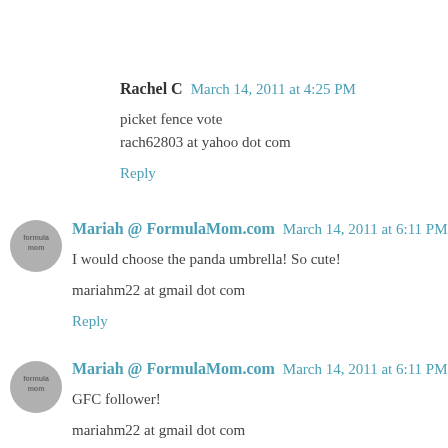Rachel C March 14, 2011 at 4:25 PM
picket fence vote
rach62803 at yahoo dot com
Reply
Mariah @ FormulaMom.com March 14, 2011 at 6:11 PM
I would choose the panda umbrella! So cute!
mariahm22 at gmail dot com
Reply
Mariah @ FormulaMom.com March 14, 2011 at 6:11 PM
GFC follower!
mariahm22 at gmail dot com